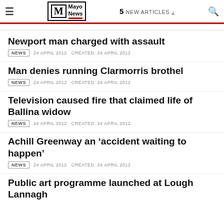Mayo News | 5 NEW ARTICLES
Newport man charged with assault
NEWS  24 APRIL 2012  CREATED: 24 APRIL 2012
Man denies running Clarmorris brothel
NEWS  24 APRIL 2012  CREATED: 24 APRIL 2012
Television caused fire that claimed life of Ballina widow
NEWS  24 APRIL 2012  CREATED: 24 APRIL 2012
Achill Greenway an ‘accident waiting to happen’
NEWS  24 APRIL 2012  CREATED: 24 APRIL 2012
Public art programme launched at Lough Lannagh